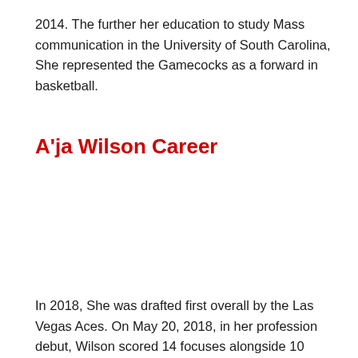2014. The further her education to study Mass communication in the University of South Carolina, She represented the Gamecocks as a forward in basketball.
A'ja Wilson Career
In 2018, She was drafted first overall by the Las Vegas Aces. On May 20, 2018, in her profession debut, Wilson scored 14 focuses alongside 10 bounce back in a 101–65 misfortune to